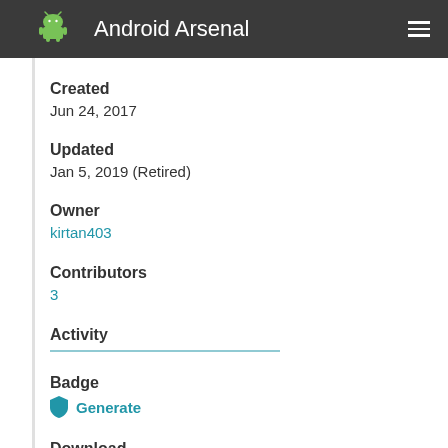Android Arsenal
Created
Jun 24, 2017
Updated
Jan 5, 2019 (Retired)
Owner
kirtan403
Contributors
3
Activity
Badge
Generate
Download